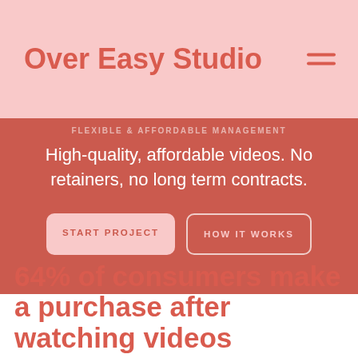Over Easy Studio
FLEXIBLE & AFFORDABLE MANAGEMENT
High-quality, affordable videos. No retainers, no long term contracts.
START PROJECT
HOW IT WORKS
64% of consumers make a purchase after watching videos